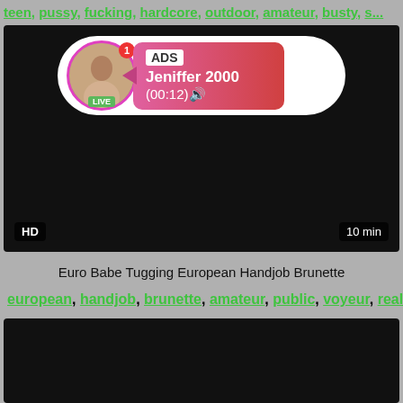teen, pussy, fucking, hardcore, outdoor, amateur, busty, s...
[Figure (screenshot): Video thumbnail (black) with ADS overlay showing profile picture, LIVE badge, notification dot, and pink gradient bubble with 'ADS', 'Jeniffer 2000', '(00:12)' text. HD badge bottom-left, '10 min' bottom-right.]
Euro Babe Tugging European Handjob Brunette
european, handjob, brunette, amateur, public, voyeur, real...
[Figure (screenshot): Second video thumbnail (black/dark)]